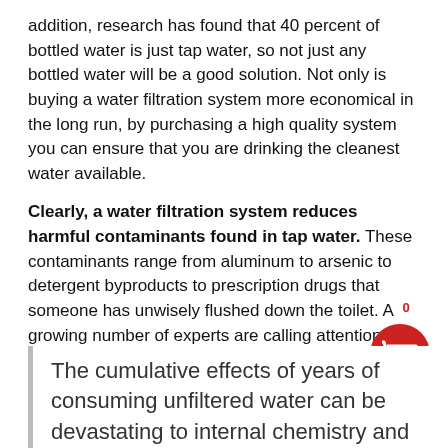addition, research has found that 40 percent of bottled water is just tap water, so not just any bottled water will be a good solution. Not only is buying a water filtration system more economical in the long run, by purchasing a high quality system you can ensure that you are drinking the cleanest water available.
Clearly, a water filtration system reduces harmful contaminants found in tap water. These contaminants range from aluminum to arsenic to detergent byproducts to prescription drugs that someone has unwisely flushed down the toilet. A growing number of experts are calling attention to these contaminants because they can contribute to the epidemic health conditions experienced by many today. These health conditions include learning issues, behavioral problems, altered immune systems, prostate and breast issues, obesity, heartburn, urinary tract infections, chronic fatigue and early puberty in both sexes.
The cumulative effects of years of consuming unfiltered water can be devastating to internal chemistry and
[Figure (illustration): Red circular shopping cart icon with a badge showing 0]